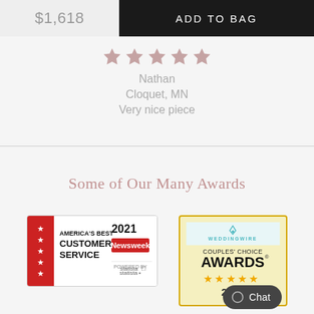$1,618
ADD TO BAG
[Figure (infographic): Five mauve/rose-colored stars rating display]
Nathan
Cloquet, MN
Very nice piece
Some of Our Many Awards
[Figure (logo): America's Best Customer Service 2021 badge - Newsweek / statista]
[Figure (logo): WeddingWire Couples' Choice Awards 2021 badge with five gold stars]